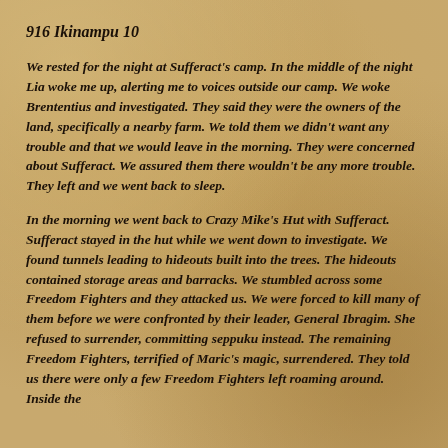916 Ikinampu 10
We rested for the night at Sufferact's camp. In the middle of the night Lia woke me up, alerting me to voices outside our camp. We woke Brententius and investigated. They said they were the owners of the land, specifically a nearby farm. We told them we didn't want any trouble and that we would leave in the morning. They were concerned about Sufferact. We assured them there wouldn't be any more trouble. They left and we went back to sleep.
In the morning we went back to Crazy Mike's Hut with Sufferact. Sufferact stayed in the hut while we went down to investigate. We found tunnels leading to hideouts built into the trees. The hideouts contained storage areas and barracks. We stumbled across some Freedom Fighters and they attacked us. We were forced to kill many of them before we were confronted by their leader, General Ibragim. She refused to surrender, committing seppuku instead. The remaining Freedom Fighters, terrified of Maric's magic, surrendered. They told us there were only a few Freedom Fighters left roaming around. Inside the